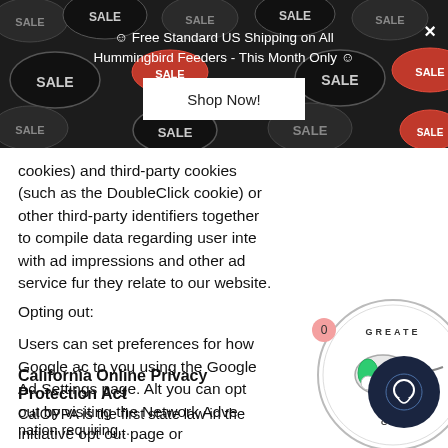[Figure (screenshot): Promotional banner with dark background showing sale speech bubble pattern. Text reads: 'Free Standard US Shipping on All Hummingbird Feeders - This Month Only' with a 'Shop Now!' button and an X close button.]
cookies) and third-party cookies (such as the DoubleClick cookie) or other third-party identifiers together to compile data regarding user interactions with ad impressions and other ad service functions as they relate to our website.
Opting out:
Users can set preferences for how Google advertises to you using the Google Ad Settings page. Alternatively, you can opt out by visiting the Network Advertising initiative opt out page or permanently using the Google Analytics Opt Out Browser add on.
California Online Privacy Protection Act
CalOPPA is the first state law in the nation requiring...